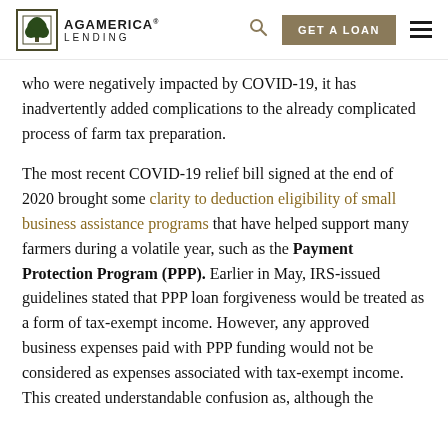AG AMERICA LENDING | GET A LOAN
who were negatively impacted by COVID-19, it has inadvertently added complications to the already complicated process of farm tax preparation.
The most recent COVID-19 relief bill signed at the end of 2020 brought some clarity to deduction eligibility of small business assistance programs that have helped support many farmers during a volatile year, such as the Payment Protection Program (PPP). Earlier in May, IRS-issued guidelines stated that PPP loan forgiveness would be treated as a form of tax-exempt income. However, any approved business expenses paid with PPP funding would not be considered as expenses associated with tax-exempt income. This created understandable confusion as, although the